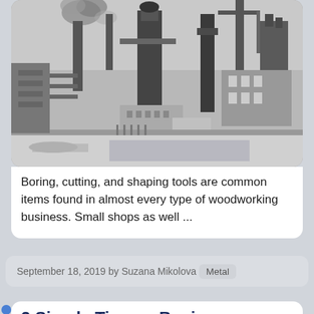[Figure (photo): Black and white historical photograph of an industrial facility, showing large factory structures with smokestacks emitting smoke, industrial towers, cranes, and various industrial buildings. Snow or debris visible on the ground in the foreground.]
Boring, cutting, and shaping tools are common items found in almost every type of woodworking business. Small shops as well ...
September 18, 2019 by Suzana Mikolova   Metal
3 Simple Tips on Buying